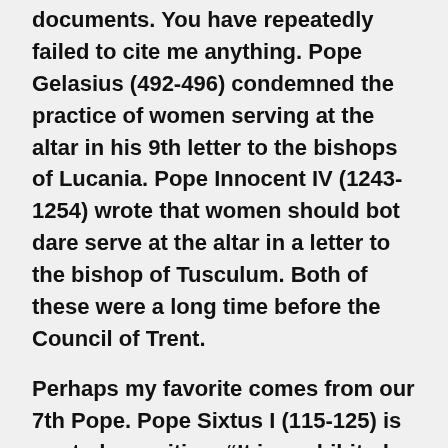documents. You have repeatedly failed to cite me anything. Pope Gelasius (492-496) condemned the practice of women serving at the altar in his 9th letter to the bishops of Lucania. Pope Innocent IV (1243-1254) wrote that women should bot dare serve at the altar in a letter to the bishop of Tusculum. Both of these were a long time before the Council of Trent.
Perhaps my favorite comes from our 7th Pope. Pope Sixtus I (115-125) is quoted as writing, “It is prohibited for the faithful to even touch the sacred vessels.” (Liber